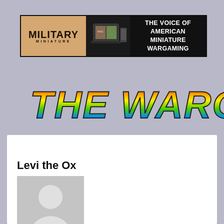[Figure (other): Military Miniature magazine banner ad: tan/terracotta background on left with 'MILITARY MINIATURE' text, center dark section with laptop/tablet showing magazine covers, right black section with white text 'THE VOICE OF AMERICAN MINIATURE WARGAMING']
THE WARGAME...
Levi the Ox
[Figure (illustration): Default user avatar placeholder: grey rectangle with white silhouette of a person (head circle and shoulders)]